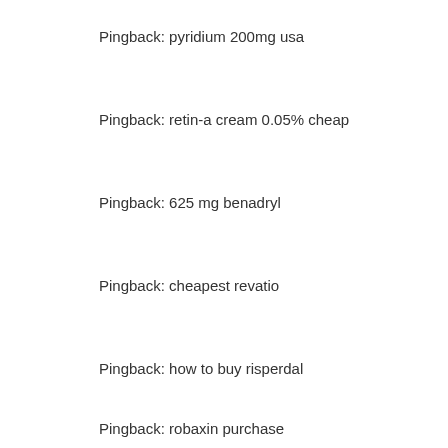Pingback: pyridium 200mg usa
Pingback: retin-a cream 0.05% cheap
Pingback: 625 mg benadryl
Pingback: cheapest revatio
Pingback: how to buy risperdal
Pingback: robaxin purchase